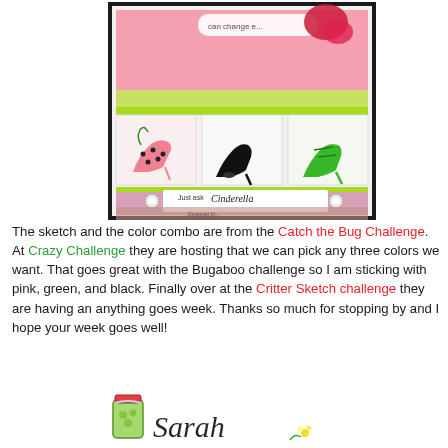[Figure (photo): A handmade greeting card featuring high-heel shoes (pink polka dot, black, green) on a pink and green background with rhinestone embellishments and text reading 'Just ask Cinderella']
The sketch and the color combo are from the Catch the Bug Challenge. At Crazy Challenge they are hosting that we can pick any three colors we want. That goes great with the Bugaboo challenge so I am sticking with pink, green, and black. Finally over at the Critter Sketch challenge they are having an anything goes week. Thanks so much for stopping by and I hope your week goes well!
[Figure (illustration): A decorative signature image with a mason jar illustration and cursive 'Sarah' text with small flowers]